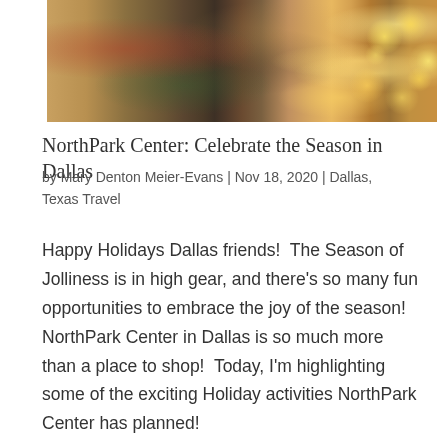[Figure (photo): Holiday scene at NorthPark Center: dark bronze/grey sculptures in a mall atrium decorated with poinsettias, greenery, and Christmas trees; right side shows golden bokeh lights from a decorated Christmas tree]
NorthPark Center: Celebrate the Season in Dallas
by Mary Denton Meier-Evans | Nov 18, 2020 | Dallas, Texas Travel
Happy Holidays Dallas friends!  The Season of Jolliness is in high gear, and there's so many fun opportunities to embrace the joy of the season! NorthPark Center in Dallas is so much more than a place to shop!  Today, I'm highlighting some of the exciting Holiday activities NorthPark Center has planned!